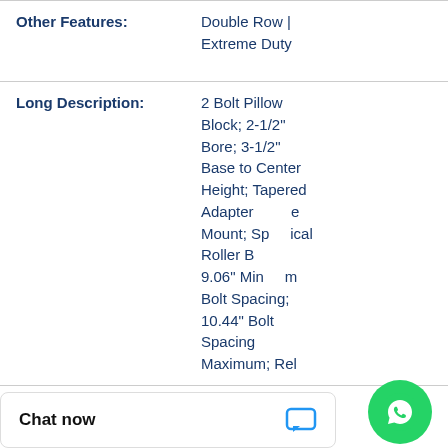| Other Features: | Double Row | Extreme Duty |
| Long Description: | 2 Bolt Pillow Block; 2-1/2" Bore; 3-1/2" Base to Center Height; Tapered Adapter Sleeve Mount; Spherical Roller Bearing; 9.06" Minimum Bolt Spacing; 10.44" Bolt Spacing Maximum; Rel |
| UNSPSC: | 31171511 |
|  | 8483.20.40.80 |